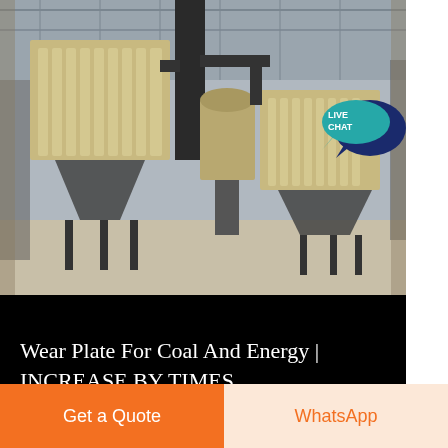[Figure (photo): Industrial facility interior showing large dust collector or filter units with cylindrical filter elements, metal framework, and conveying equipment inside a warehouse/factory building with metal roof.]
Wear Plate For Coal And Energy | INCREASE BY TIMES
Utilizing high chromium wear-resistant plates to produce coal ash conveying pipelines for power plants, medium-
Get a Quote
WhatsApp